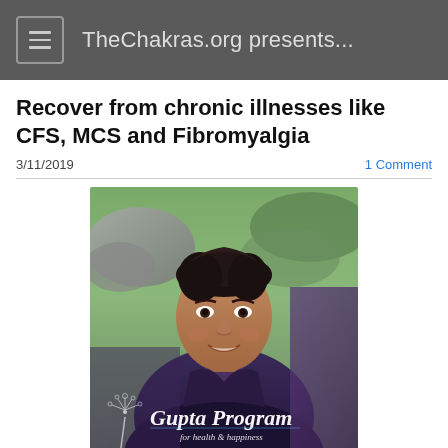TheChakras.org presents...
Recover from chronic illnesses like CFS, MCS and Fibromyalgia
3/11/2019
1 Comment
[Figure (photo): Portrait photo of a man smiling, wearing a dark jacket, outdoors with rocky background. Overlaid text reads 'Gupta Program for health & happiness' with a dandelion illustration in bottom left corner.]